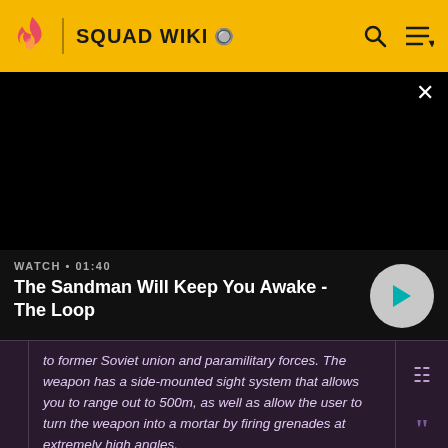SQUAD WIKI
[Figure (screenshot): Black video player area with close X button]
WATCH • 01:40
The Sandman Will Keep You Awake - The Loop
to former Soviet union and paramilitary forces. The weapon has a side-mounted sight system that allows you to range out to 500m, as well as allow the user to turn the weapon into a mortar by firing grenades at extremely high angles.
– In-game description